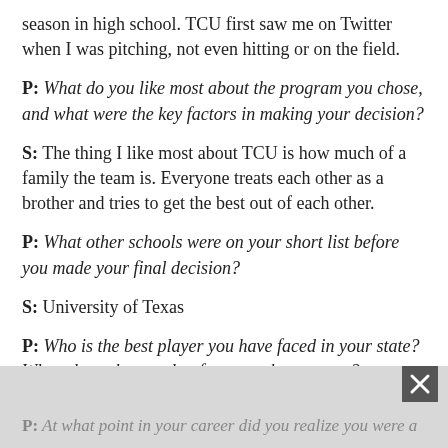season in high school. TCU first saw me on Twitter when I was pitching, not even hitting or on the field.
P: What do you like most about the program you chose, and what were the key factors in making your decision?
S: The thing I like most about TCU is how much of a family the team is. Everyone treats each other as a brother and tries to get the best out of each other.
P: What other schools were on your short list before you made your final decision?
S: University of Texas
P: Who is the best player you have faced in your state? What about them makes for a tough opponent?
S: Nathan Detmer my freshman season in the playoffs. He was just a great pitcher with overpowering pitches.
P: At what point in your career did you realize you were a